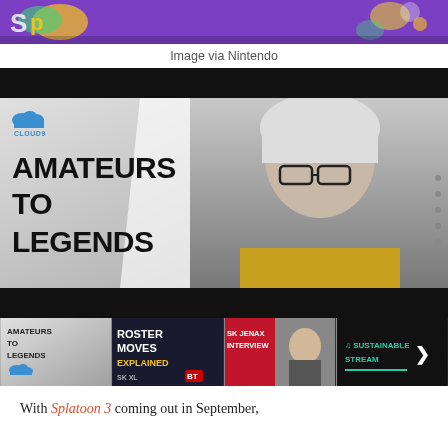[Figure (photo): Top banner strip showing colorful Splatoon game characters on purple background]
Image via Nintendo
[Figure (photo): Cloud9 Amateurs to Legends video thumbnail with white-haired player wearing glasses, black bars top and bottom, and four smaller video thumbnails below including Roster Moves Explained, SK Jenax Interview, and Sustainable Stream]
With Splatoon 3 coming out in September,